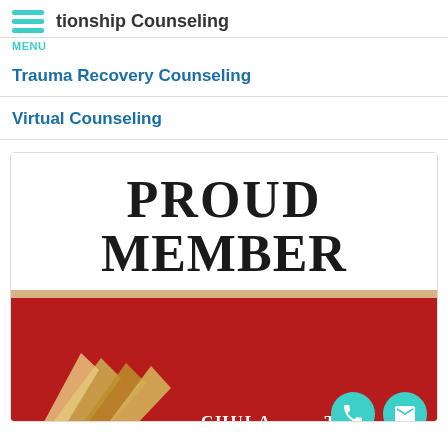tionship Counseling
MENU
Trauma Recovery Counseling
Virtual Counseling
[Figure (logo): Proud Member badge with red background, gold geometric logo, and CHULAST text, with phone and mail contact buttons]